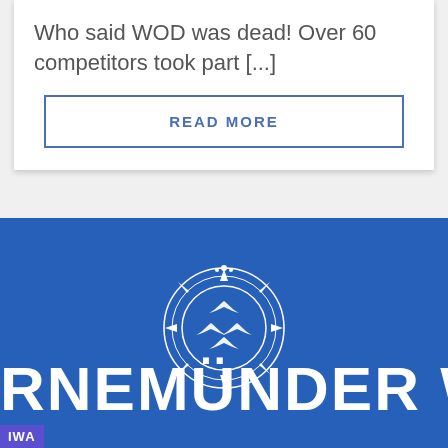Who said WOD was dead!  Over 60 competitors took part [...]
READ MORE
[Figure (logo): Blue background banner with a circular white logo featuring stylized birds/seagulls and decorative border, with white bold text reading 'RNEMÜNDER WO' and a purple 'IWA' badge in the bottom left corner.]